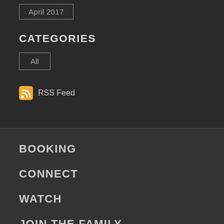April 2017
CATEGORIES
All
RSS Feed
BOOKING
CONNECT
WATCH
JOIN THE FAMILY